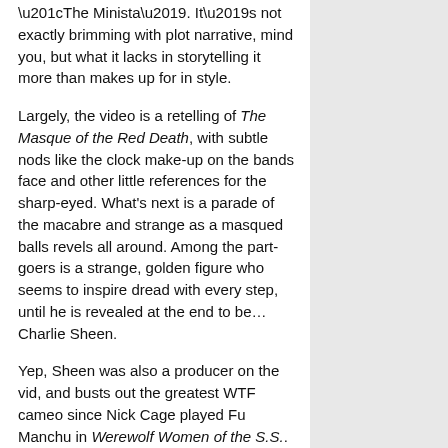“The Minista’. It’s not exactly brimming with plot narrative, mind you, but what it lacks in storytelling it more than makes up for in style.
Largely, the video is a retelling of The Masque of the Red Death, with subtle nods like the clock make-up on the bands face and other little references for the sharp-eyed. What’s next is a parade of the macabre and strange as a masqued balls revels all around. Among the part-goers is a strange, golden figure who seems to inspire dread with every step, until he is revealed at the end to be… Charlie Sheen.
Yep, Sheen was also a producer on the vid, and busts out the greatest WTF cameo since Nick Cage played Fu Manchu in Werewolf Women of the S.S.. You may think I’ve spoiled the pay-off, but trust me, it cannot possibly be spoiled, such is it’s twisted majesty.